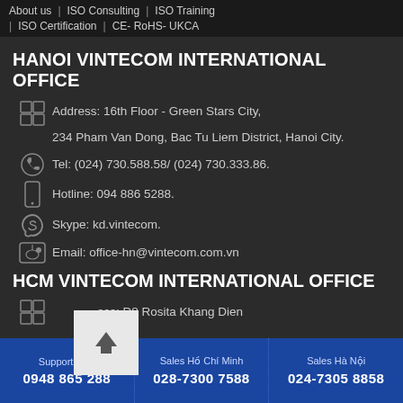About us | ISO Consulting | ISO Training | ISO Certification | CE- RoHS- UKCA
HANOI VINTECOM INTERNATIONAL OFFICE
Address: 16th Floor - Green Stars City,
234 Pham Van Dong, Bac Tu Liem District, Hanoi City.
Tel: (024) 730.588.58/ (024) 730.333.86.
Hotline: 094 886 5288.
Skype: kd.vintecom.
Email: office-hn@vintecom.com.vn
HCM VINTECOM INTERNATIONAL OFFICE
Address: D8 Rosita Khang Dien
Support 24/7 0948 865 288 | Sales Hồ Chí Minh 028-7300 7588 | Sales Hà Nội 024-7305 8858